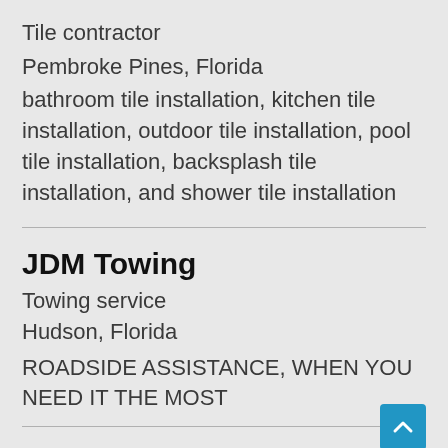Tile contractor
Pembroke Pines, Florida
bathroom tile installation, kitchen tile installation, outdoor tile installation, pool tile installation, backsplash tile installation, and shower tile installation
JDM Towing
Towing service
Hudson, Florida
ROADSIDE ASSISTANCE, WHEN YOU NEED IT THE MOST
Allstar Website Designers of